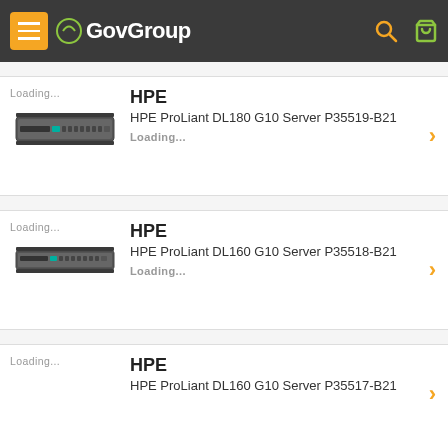GovGroup
Loading... HPE
HPE ProLiant DL180 G10 Server P35519-B21
Loading...
Loading... HPE
HPE ProLiant DL160 G10 Server P35518-B21
Loading...
Loading... HPE
HPE ProLiant DL160 G10 Server P35517-B21